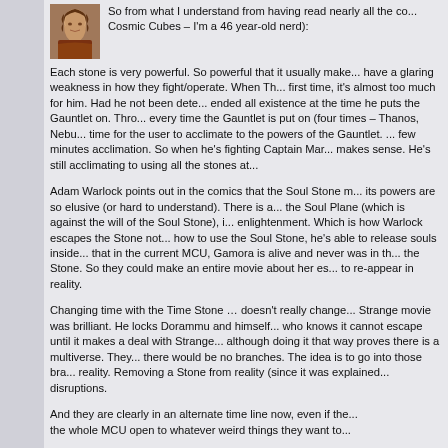[Figure (photo): Small avatar photo of a person with long hair and reddish-brown clothing, appearing to be in a thoughtful pose]
So from what I understand from having read nearly all the co... Cosmic Cubes – I'm a 46 year-old nerd):
Each stone is very powerful. So powerful that it usually make... have a glaring weakness in how they fight/operate. When Th... first time, it's almost too much for him. Had he not been dete... ended all existence at the time he puts the Gauntlet on. Thro... every time the Gauntlet is put on (four times – Thanos, Nebu... time for the user to acclimate to the powers of the Gauntlet. ... few minutes acclimation. So when he's fighting Captain Mar... makes sense. He's still acclimating to using all the stones at...
Adam Warlock points out in the comics that the Soul Stone m... its powers are so elusive (or hard to understand). There is a... the Soul Plane (which is against the will of the Soul Stone), i... enlightenment. Which is how Warlock escapes the Stone not... how to use the Soul Stone, he's able to release souls inside... that in the current MCU, Gamora is alive and never was in th... the Stone. So they could make an entire movie about her es... to re-appear in reality.
Changing time with the Time Stone … doesn't really change... Strange movie was brilliant. He locks Dorammu and himself... who knows it cannot escape until it makes a deal with Strange... although doing it that way proves there is a multiverse. They... there would be no branches. The idea is to go into those bra... reality. Removing a Stone from reality (since it was explained... disruptions.
And they are clearly in an alternate time line now, even if the... the whole MCU open to whatever weird things they want to...